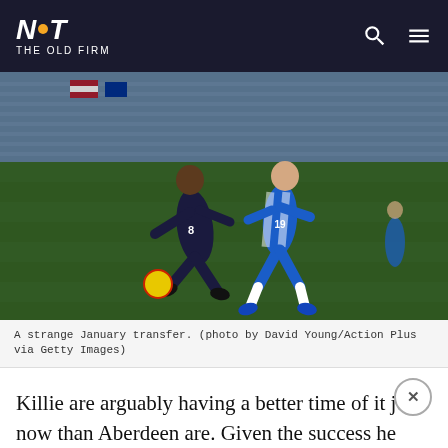NOT THE OLD FIRM
[Figure (photo): Two football players competing for the ball on a green pitch. A player in dark navy kit numbered 8 dribbles a yellow ball, challenged by a player in blue and white striped kit numbered 19. Stadium seating visible in background.]
A strange January transfer. (photo by David Young/Action Plus via Getty Images)
Killie are arguably having a better time of it just now than Aberdeen are. Given the success he was